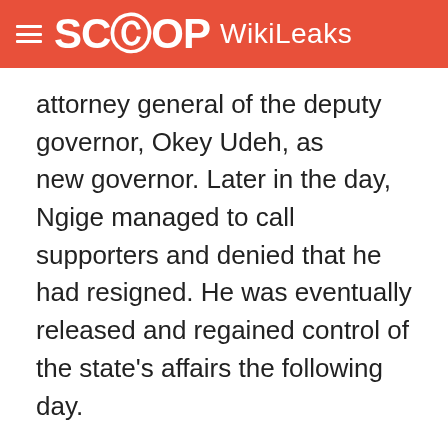SCOOP WikiLeaks
attorney general of the deputy governor, Okey Udeh, as new governor. Later in the day, Ngige managed to call supporters and denied that he had resigned. He was eventually released and regained control of the state's affairs the following day.